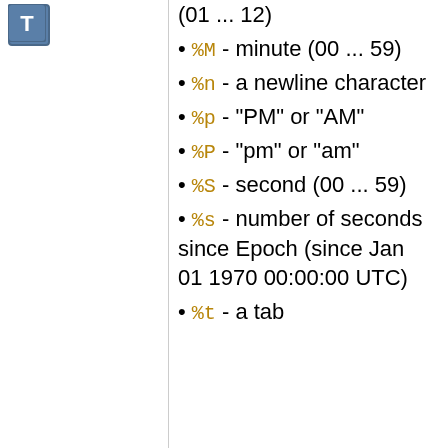[Figure (logo): Letter T icon in blue square]
(01 ... 12)
%M - minute (00 ... 59)
%n - a newline character
%p - "PM" or "AM"
%P - "pm" or "am"
%S - second (00 ... 59)
%s - number of seconds since Epoch (since Jan 01 1970 00:00:00 UTC)
%t - a tab